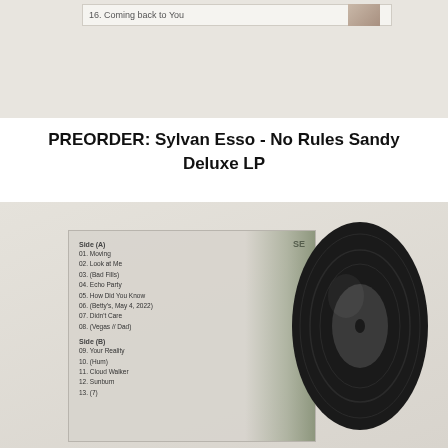[Figure (photo): Top portion of a product listing page showing a partial track row with text '16. Coming back to You' and a small album art thumbnail, on a beige background]
PREORDER: Sylvan Esso - No Rules Sandy Deluxe LP
[Figure (photo): Photo of the back cover of the Sylvan Esso No Rules Sandy Deluxe LP showing a tracklist on a translucent sleeve: Side (A): 01. Moving, 02. Look at Me, 03. (Bad Fills), 04. Echo Party, 05. How Did You Know, 06. (Betty's, May 4, 2022), 07. Didn't Care, 08. (Vegas // Dad); Side (B): 09. Your Reality, 10. (Hum), 11. Cloud Walker, 12. Sunburn, 13. (7). The sleeve is placed over a forest photo background with a black vinyl record visible to the right.]